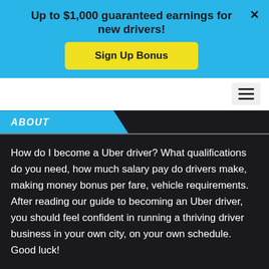Up to $1,000 guaranteed earnings for new drivers!
[Figure (other): Yellow 'Sign Up Bonus' button on blue banner]
[Figure (other): Navigation hamburger menu icon]
ABOUT
How do I become a Uber driver? What qualifications do you need, how much salary pay do drivers make, making money bonus per fare, vehicle requirements. After reading our guide to becoming an Uber driver, you should feel confident in running a thriving driver business in your own city, on your own schedule. Good luck!
SIGN UP BONUS